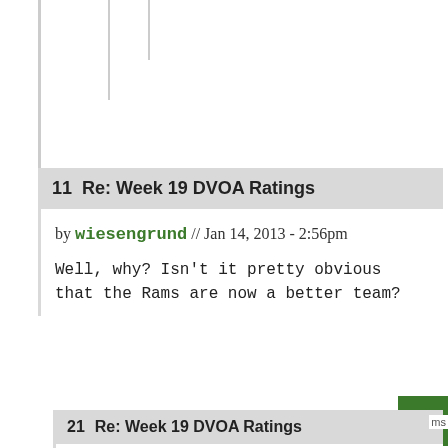11  Re: Week 19 DVOA Ratings
by wiesengrund // Jan 14, 2013 - 2:56pm
Well, why? Isn't it pretty obvious that the Rams are now a better team?
21   Re: Week 19 DVOA Ratings
by John from Tuscaloosa (not verified) //